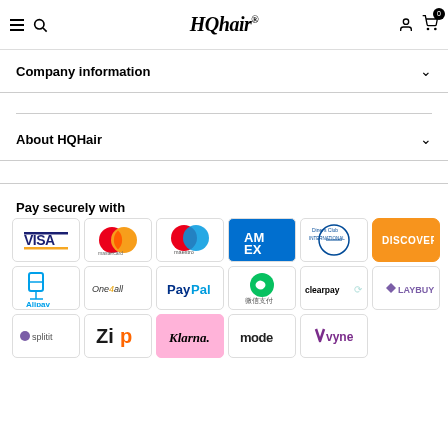HQhair
Company information
About HQHair
Pay securely with
[Figure (other): Payment method logos: Visa, Mastercard, Maestro, American Express, Diners Club International, Discover, Alipay, One4all, PayPal, 微信支付 (WeChat Pay), Clearpay, Laybuy, Splitit, Zip, Klarna, Mode, Vyne]